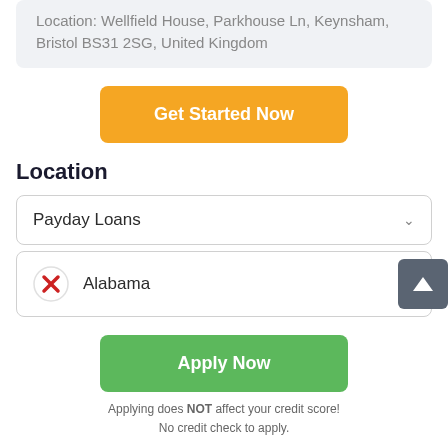Location: Wellfield House, Parkhouse Ln, Keynsham, Bristol BS31 2SG, United Kingdom
Get Started Now
Location
Payday Loans
Alabama
Apply Now
Applying does NOT affect your credit score! No credit check to apply.